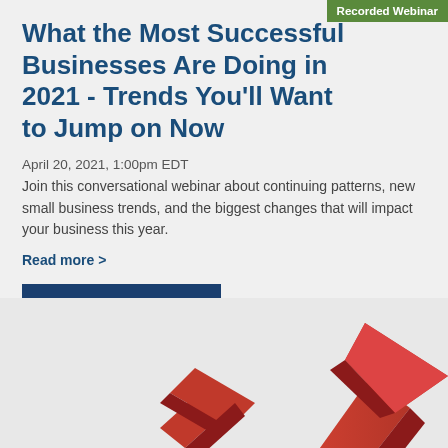Recorded Webinar
What the Most Successful Businesses Are Doing in 2021 - Trends You'll Want to Jump on Now
April 20, 2021, 1:00pm EDT
Join this conversational webinar about continuing patterns, new small business trends, and the biggest changes that will impact your business this year.
Read more >
View Webinar ▶
[Figure (illustration): 3D red upward-pointing arrow graphic on grey background]